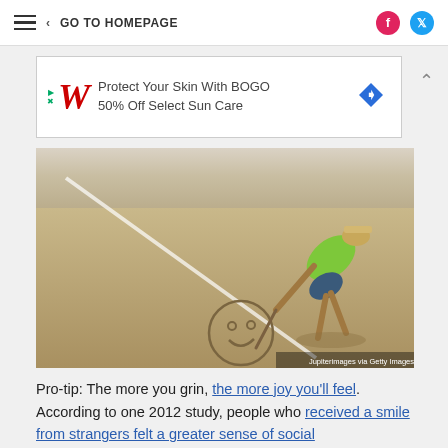≡  ‹ GO TO HOMEPAGE
[Figure (advertisement): Walgreens ad: Protect Your Skin With BOGO 50% Off Select Sun Care]
[Figure (photo): Person in yellow shirt and hat bent over drawing a smiley face in the sand with a stick, at a beach. Caption: Jupiterimages via Getty Images]
Pro-tip: The more you grin, the more joy you'll feel. According to one 2012 study, people who received a smile from strangers felt a greater sense of social connectedness. And who doesn't want to feel like